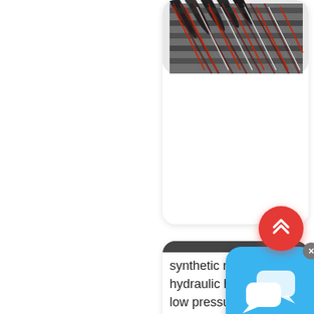[Figure (photo): Top card showing striped hydraulic hoses (black with red/white spiral reinforcement) on white card with rounded corners]
[Figure (photo): Bottom card showing dark grey/black corrugated rubber hoses or tubes stacked together, with a blue chat bubble app icon overlay and a grey X close button]
[Figure (infographic): Red circular scroll-to-top button with double chevron up arrow icon]
synthetic rubber hydraulic hose low pressure